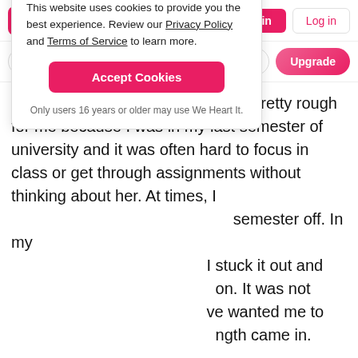We Heart It navigation bar with Join and Log in buttons
Search for things you love...
The first year after losing her was pretty rough for me because I was in my last semester of university and it was often hard to focus in class or get through assignments without thinking about her. At times, I [semester off. In my] [I stuck it out and] [on. It was not] [ve wanted me to] [ngth came in.] [ily to get through] [s that I would wake up and it felt like a dream. I couldn't believe she was gone. Even to this day it can get hard sometimes but I continue to stay positive and cherish the memories that I
This website uses cookies to provide you the best experience. Review our Privacy Policy and Terms of Service to learn more.
Accept Cookies
Only users 16 years or older may use We Heart It.